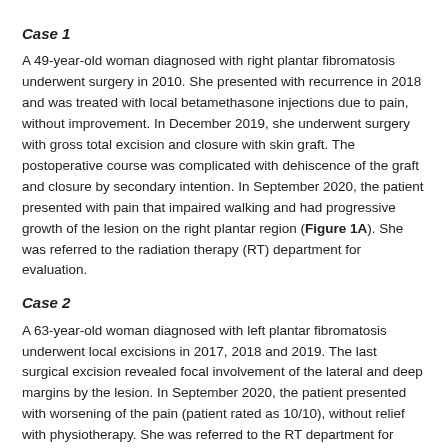Case 1
A 49-year-old woman diagnosed with right plantar fibromatosis underwent surgery in 2010. She presented with recurrence in 2018 and was treated with local betamethasone injections due to pain, without improvement. In December 2019, she underwent surgery with gross total excision and closure with skin graft. The postoperative course was complicated with dehiscence of the graft and closure by secondary intention. In September 2020, the patient presented with pain that impaired walking and had progressive growth of the lesion on the right plantar region (Figure 1A). She was referred to the radiation therapy (RT) department for evaluation.
Case 2
A 63-year-old woman diagnosed with left plantar fibromatosis underwent local excisions in 2017, 2018 and 2019. The last surgical excision revealed focal involvement of the lateral and deep margins by the lesion. In September 2020, the patient presented with worsening of the pain (patient rated as 10/10), without relief with physiotherapy. She was referred to the RT department for evaluation (Figure 2A).
A planning computed tomography (CT) was done in both patients in a ventral decubitus position with adequate immobilization using a thermoplastic mask (Figures 2A and 2B) connected to a base plate. Under the treated foot was a